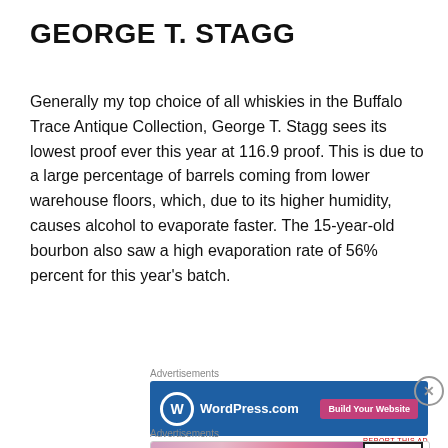GEORGE T. STAGG
Generally my top choice of all whiskies in the Buffalo Trace Antique Collection, George T. Stagg sees its lowest proof ever this year at 116.9 proof. This is due to a large percentage of barrels coming from lower warehouse floors, which, due to its higher humidity, causes alcohol to evaporate faster. The 15-year-old bourbon also saw a high evaporation rate of 56% percent for this year's batch.
[Figure (screenshot): WordPress.com advertisement banner with blue background, WordPress logo, and pink 'Build Your Website' button]
[Figure (screenshot): MAC cosmetics advertisement with lipsticks and 'SHOP NOW' text box]